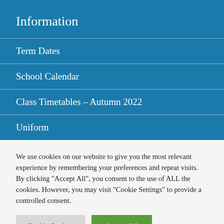Information
Term Dates
School Calendar
Class Timetables – Autumn 2022
Uniform
We use cookies on our website to give you the most relevant experience by remembering your preferences and repeat visits. By clicking "Accept All", you consent to the use of ALL the cookies. However, you may visit "Cookie Settings" to provide a controlled consent.
Cookie Settings | Accept All